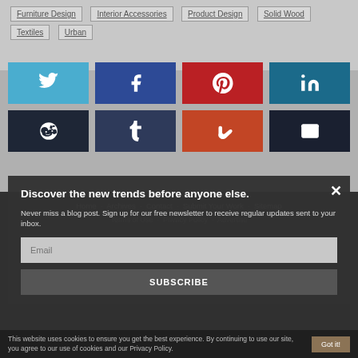Furniture Design | Interior Accessories | Product Design | Solid Wood | Textiles | Urban
[Figure (infographic): Social media share buttons: Twitter (light blue), Facebook (dark blue), Pinterest (dark red), LinkedIn (dark teal), Reddit (dark navy), Tumblr (dark slate), StumbleUpon (orange-brown), Email (nearly black)]
Home · Archives · Contact · Submit Your Work · Sitemap
Terms of Use · Privacy Policy · Advertise
Discover the new trends before anyone else.
Never miss a blog post. Sign up for our free newsletter to receive regular updates sent to your inbox.
Email
SUBSCRIBE
Interior Design, Trends & News © InteriorZine.com 2009 – 2020
This website uses cookies to ensure you get the best experience. By continuing to use our site, you agree to our use of cookies and our Privacy Policy.
Got it!